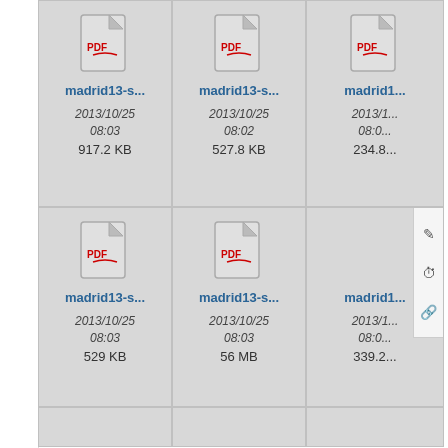[Figure (screenshot): File browser grid showing PDF file cards with names 'madrid13-s...', dates '2013/10/25' and times, and file sizes. Three cards visible in top row (917.2 KB, 527.8 KB, 234.8...), three in middle row (529 KB, 56 MB, 339.2...) with a context menu overlay on rightmost, and three partial cards at bottom.]
madrid13-s...
2013/10/25 08:03 917.2 KB
madrid13-s...
2013/10/25 08:02 527.8 KB
madrid1...
2013/1... 08:0... 234.8...
madrid13-s...
2013/10/25 08:03 529 KB
madrid13-s...
2013/10/25 08:03 56 MB
madrid1...
2013/1... 08:0... 339.2...